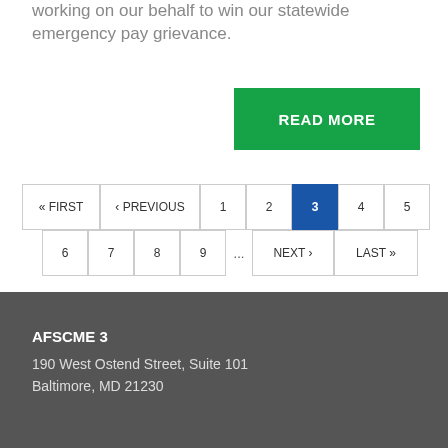working on our behalf to win our statewide emergency pay grievance.
READ MORE
« FIRST
‹ PREVIOUS
1
2
3
4
5
6
7
8
9
...
NEXT ›
LAST »
AFSCME 3
190 West Ostend Street, Suite 101
Baltimore, MD 21230